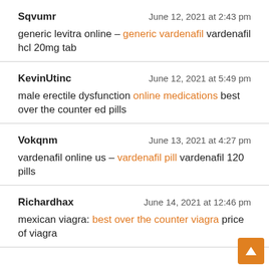Sqvumr — June 12, 2021 at 2:43 pm
generic levitra online – generic vardenafil vardenafil hcl 20mg tab
KevinUtinc — June 12, 2021 at 5:49 pm
male erectile dysfunction online medications best over the counter ed pills
Vokqnm — June 13, 2021 at 4:27 pm
vardenafil online us – vardenafil pill vardenafil 120 pills
Richardhax — June 14, 2021 at 12:46 pm
mexican viagra: best over the counter viagra price of viagra